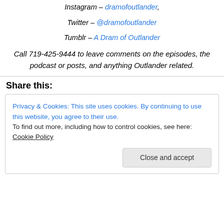Instagram – dramofoutlander,
Twitter – @dramofoutlander
Tumblr – A Dram of Outlander
Call 719-425-9444 to leave comments on the episodes, the podcast or posts, and anything Outlander related.
Share this:
Privacy & Cookies: This site uses cookies. By continuing to use this website, you agree to their use. To find out more, including how to control cookies, see here: Cookie Policy